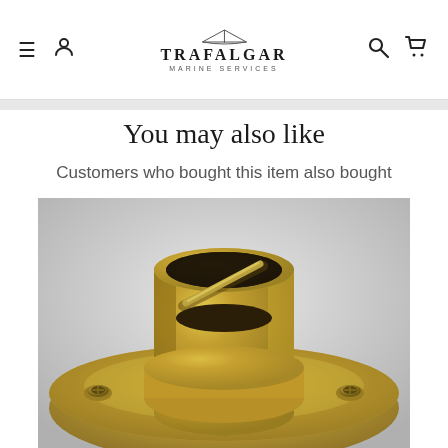Trafalgar Marine Services — site navigation header with menu, user, search, and cart icons
You may also like
Customers who bought this item also bought
[Figure (photo): Close-up photograph of a polished brass marine fitting — a cylindrical socket with a cross-pin, mounted on a flanged base plate with visible bolt holes, against a light grey background.]